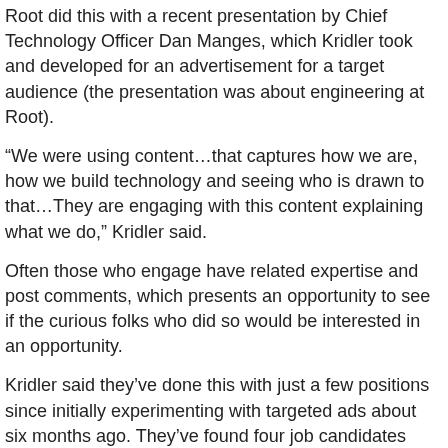Root did this with a recent presentation by Chief Technology Officer Dan Manges, which Kridler took and developed for an advertisement for a target audience (the presentation was about engineering at Root).
“We were using content…that captures how we are, how we build technology and seeing who is drawn to that…They are engaging with this content explaining what we do,” Kridler said.
Often those who engage have related expertise and post comments, which presents an opportunity to see if the curious folks who did so would be interested in an opportunity.
Kridler said they’ve done this with just a few positions since initially experimenting with targeted ads about six months ago. They’ve found four job candidates through this method.
Root’s digital recruiting focuses strongly on the employer brand and promotes what a job candidate might experience at the company. In doing so, Kridler said, Root hopes “to attract and retain employees for a long time.”
Root also targets digital recruitment via eng.joinroot.com, an engineering-specific website that explains the company’s